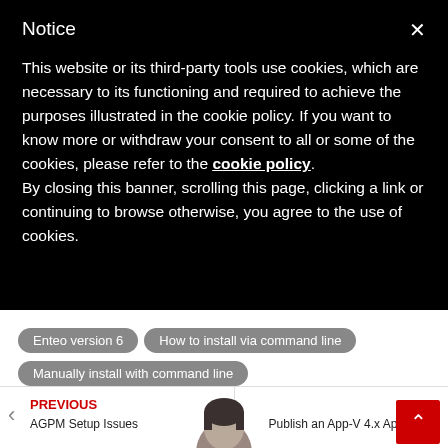Notice
This website or its third-party tools use cookies, which are necessary to its functioning and required to achieve the purposes illustrated in the cookie policy. If you want to know more or withdraw your consent to all or some of the cookies, please refer to the cookie policy.
By closing this banner, scrolling this page, clicking a link or continuing to browse otherwise, you agree to the use of cookies.
Enteo version 6
How to install via command line
Manually install with command line
PREVIOUS
AGPM Setup Issues
NEXT
Publish an App-V 4.x Applicati...
[Figure (photo): Partial view of a person's head/face at the bottom of the page]